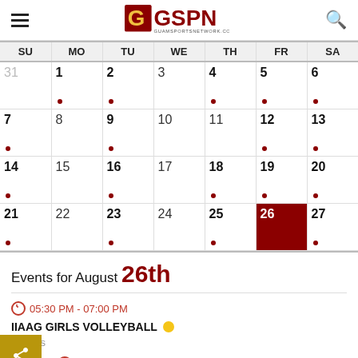GSPN - Guam Sports Network
| SU | MO | TU | WE | TH | FR | SA |
| --- | --- | --- | --- | --- | --- | --- |
| 31 | 1 | 2 | 3 | 4 | 5 | 6 |
| 7 | 8 | 9 | 10 | 11 | 12 | 13 |
| 14 | 15 | 16 | 17 | 18 | 19 | 20 |
| 21 | 22 | 23 | 24 | 25 | 26 | 27 |
Events for August 26th
05:30 PM - 07:00 PM
IIAAG GIRLS VOLLEYBALL
Various
07:00 PM - 10:00 PM